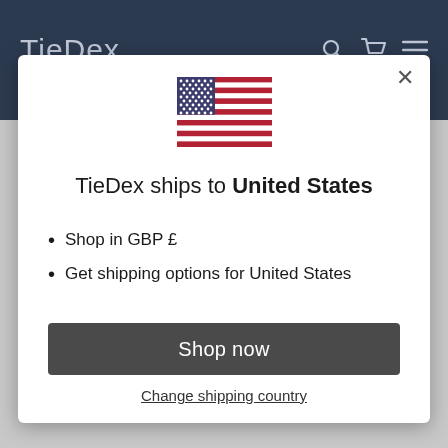TieDex
[Figure (illustration): US flag emoji/icon centered in modal dialog]
TieDex ships to United States
Shop in GBP £
Get shipping options for United States
Shop now
Change shipping country